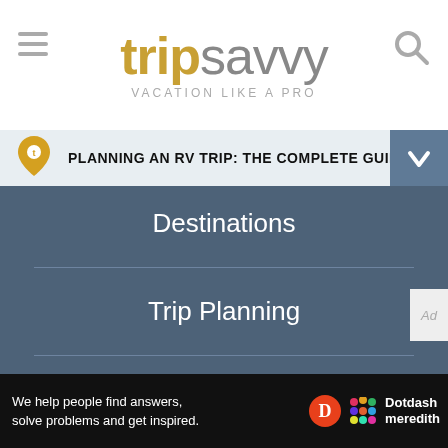[Figure (logo): TripSavvy logo with hamburger menu and search icon. Bold 'trip' in gold/yellow and 'savvy' in grey. Tagline: VACATION LIKE A PRO]
PLANNING AN RV TRIP: THE COMPLETE GUIDE
Destinations
Trip Planning
Inspiration
Outdoors
News
We help people find answers, solve problems and get inspired.  Dotdash meredith